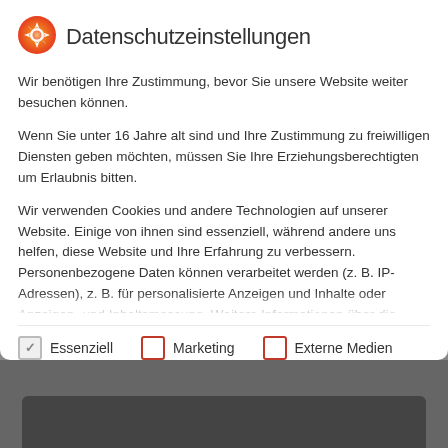Datenschutzeinstellungen
Wir benötigen Ihre Zustimmung, bevor Sie unsere Website weiter besuchen können.
Wenn Sie unter 16 Jahre alt sind und Ihre Zustimmung zu freiwilligen Diensten geben möchten, müssen Sie Ihre Erziehungsberechtigten um Erlaubnis bitten.
Wir verwenden Cookies und andere Technologien auf unserer Website. Einige von ihnen sind essenziell, während andere uns helfen, diese Website und Ihre Erfahrung zu verbessern. Personenbezogene Daten können verarbeitet werden (z. B. IP-Adressen), z. B. für personalisierte Anzeigen und Inhalte oder Anzeigen- und Inhaltsmessung. Weitere Informationen über die
Essenziell
Marketing
Externe Medien